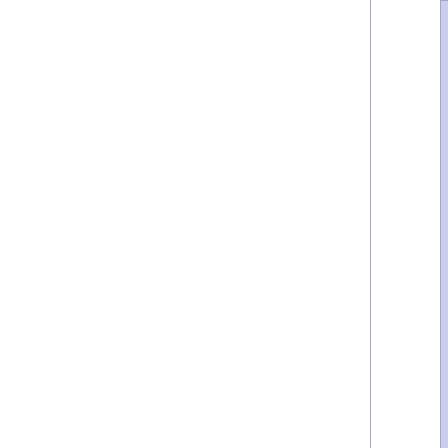| Category | Subcategory | Items |
| --- | --- | --- |
|  | SWAT | MP7 SMG · HRG Nailgu... · Heckler & K... · Riot Shield · G36C Assa... · Tactical Kni... |
|  | Survivalist | HRG Locus... · Reducto Ra... · Killerwatt · Gore Shiv |
|  | Other | 9mm Pistol · Doshinegur... |
|  | Equipment | Combat Arr... · Battery · Ca... |
| Maps |  | Biotics Lab · Outpost · Burning... · Catacombs · Evacuation Point... · Prison · Containment Station · ... · ZED Landing · Nuked · Lockdo... · Desolation · Dystopia 2029 · H... · Powercore · Biolapse) · Endles... Summer Sideshow (The Tragic K... |